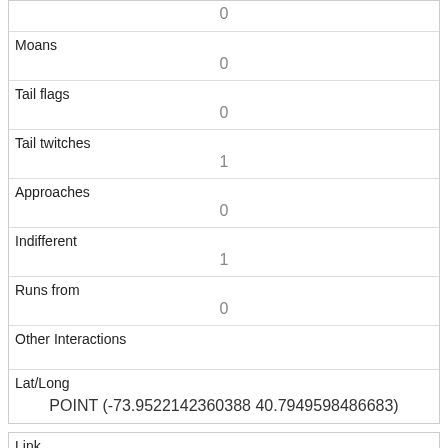| (partial row) | 0 |
| Moans | 0 |
| Tail flags | 0 |
| Tail twitches | 1 |
| Approaches | 0 |
| Indifferent | 1 |
| Runs from | 0 |
| Other Interactions |  |
| Lat/Long | POINT (-73.9522142360388 40.7949598486683) |
| Link | 169 |